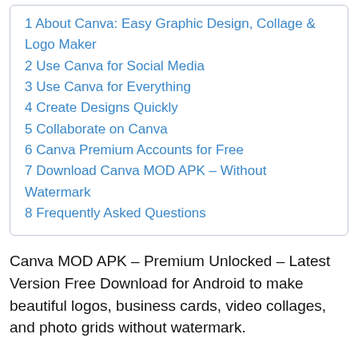1 About Canva: Easy Graphic Design, Collage & Logo Maker
2 Use Canva for Social Media
3 Use Canva for Everything
4 Create Designs Quickly
5 Collaborate on Canva
6 Canva Premium Accounts for Free
7 Download Canva MOD APK – Without Watermark
8 Frequently Asked Questions
Canva MOD APK – Premium Unlocked – Latest Version Free Download for Android to make beautiful logos, business cards, video collages, and photo grids without watermark.
About Canva: Easy Graphic Design, Collage & Logo Maker